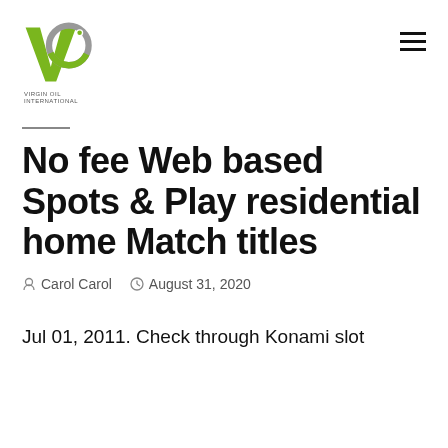VIRGIN OIL INTERNATIONAL
No fee Web based Spots & Play residential home Match titles
Carol Carol  August 31, 2020
Jul 01, 2011. Check through Konami slot